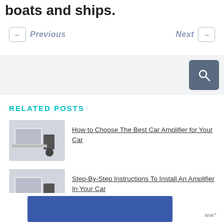boats and ships.
← Previous   Next →
[Figure (other): Search bar section with grey background and dark search button with magnifying glass icon]
RELATED POSTS
[Figure (photo): Thumbnail image showing a desk with laptop and items, linked to car amplifier article]
How to Choose The Best Car Amplifier for Your Car
[Figure (photo): Thumbnail image showing a desk with laptop and items, linked to amplifier installation article]
Step-By-Step Instructions To Install An Amplifier In Your Car
[Figure (other): Blue advertisement banner with logo at bottom of page]